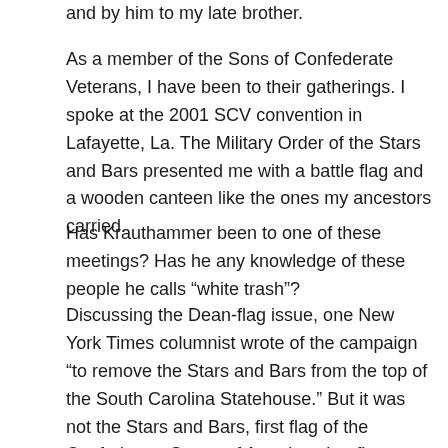and by him to my late brother.
As a member of the Sons of Confederate Veterans, I have been to their gatherings. I spoke at the 2001 SCV convention in Lafayette, La. The Military Order of the Stars and Bars presented me with a battle flag and a wooden canteen like the ones my ancestors carried.
Has Krauthammer been to one of these meetings? Has he any knowledge of these people he calls “white trash”?
Discussing the Dean-flag issue, one New York Times columnist wrote of the campaign “to remove the Stars and Bars from the top of the South Carolina Statehouse.” But it was not the Stars and Bars, first flag of the Confederate States of America, that flew over that statehouse. It was the battle flag of the Confederate army, with St. Andrew’s Cross on it, on which, tradition holds, the apostle Andrew was crucified.
And that flag atop the statehouse flew beneath Old Glory. What were South Carolinians saying by putting it there? Only this: “We are proud of the bravery of our grandfathers who fought under this blood-stained